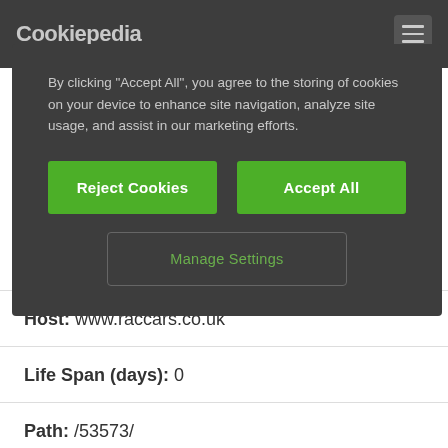Cookiepedia
By clicking "Accept All", you agree to the storing of cookies on your device to enhance site navigation, analyze site usage, and assist in our marketing efforts.
Reject Cookies
Accept All
Manage Settings
Host: www.raccars.co.uk
Life Span (days): 0
Path: /53573/